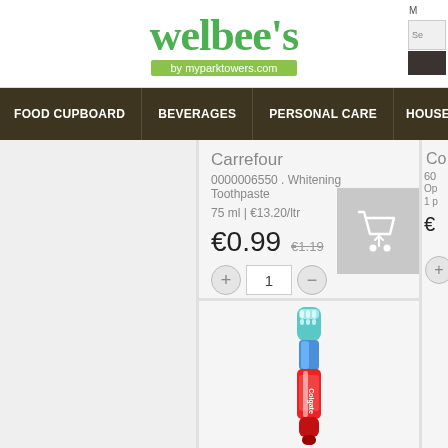[Figure (logo): Welbee's logo with text 'by myparktowers.com' on green bar]
FOOD CUPBOARD | BEVERAGES | PERSONAL CARE | HOUSEHOLD
Carrefour
0000006550 . Whitening Toothpaste
75 ml | €13.20/ltr
€0.99   €1.19 (strikethrough)
Quantity: 1
[Figure (photo): Colgate toothbrush product image]